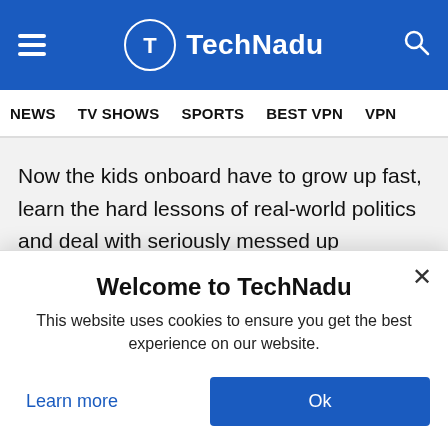TechNadu
NEWS  TV SHOWS  SPORTS  BEST VPN  VPN
Now the kids onboard have to grow up fast, learn the hard lessons of real-world politics and deal with seriously messed up seemingly supernatural nonsense as well. It's not great for them, but it makes Mugen no Ryvius infinitely entertaining.
Welcome to TechNadu
This website uses cookies to ensure you get the best experience on our website.
Learn more
Ok